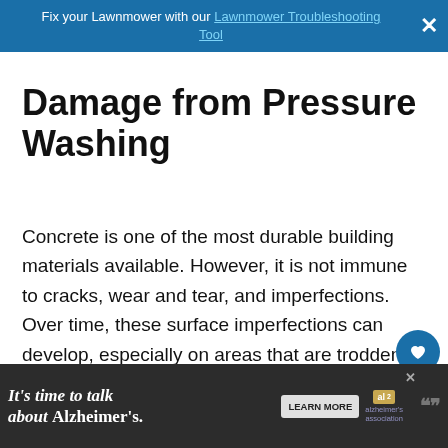Fix your Lawnmower with our Lawnmower Troubleshooting Tool
Damage from Pressure Washing
Concrete is one of the most durable building materials available. However, it is not immune to cracks, wear and tear, and imperfections. Over time, these surface imperfections can develop, especially on areas that are trodden upon by people or by cars, such as areas like a driveway. Now a pressure washer can deliver water at a pressure level that is way higher then the...
[Figure (screenshot): Floating UI buttons: a blue circle with heart icon and a light circle with share icon. A 'What's Next' card showing a thumbnail image and text 'Complete Guide to...']
[Figure (screenshot): Bottom advertisement banner: 'It's time to talk about Alzheimer's.' with a Learn More button and Alzheimer's Association logo]